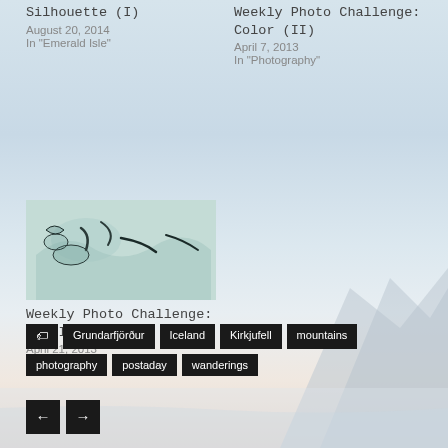Silhouette (I)
August 20, 2014
In "Emerald Isle"
Weekly Photo Challenge: Color (II)
April 7, 2013
In "Photography"
[Figure (photo): Close-up abstract photo of animals or water surface with dark streaks on light teal/white background]
Weekly Photo Challenge: Up (II)
April 21, 2013
In "Animals"
[Figure (photo): Background photo of Kirkjufell mountain silhouette in Iceland with misty lake reflection at dawn/dusk]
Grundarfjörður
Iceland
Kirkjufell
mountains
photography
postaday
wanderings